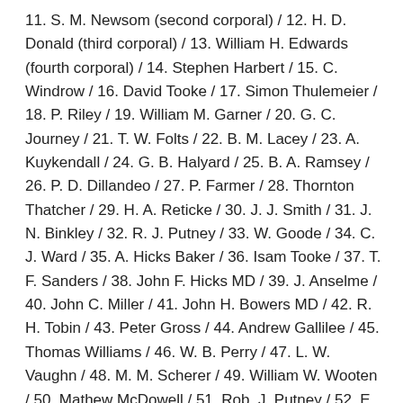11. S. M. Newsom (second corporal) / 12. H. D. Donald (third corporal) / 13. William H. Edwards (fourth corporal) / 14. Stephen Harbert / 15. C. Windrow / 16. David Tooke / 17. Simon Thulemeier / 18. P. Riley / 19. William M. Garner / 20. G. C. Journey / 21. T. W. Folts / 22. B. M. Lacey / 23. A. Kuykendall / 24. G. B. Halyard / 25. B. A. Ramsey / 26. P. D. Dillandeo / 27. P. Farmer / 28. Thornton Thatcher / 29. H. A. Reticke / 30. J. J. Smith / 31. J. N. Binkley / 32. R. J. Putney / 33. W. Goode / 34. C. J. Ward / 35. A. Hicks Baker / 36. Isam Tooke / 37. T. F. Sanders / 38. John F. Hicks MD / 39. J. Anselme / 40. John C. Miller / 41. John H. Bowers MD / 42. R. H. Tobin / 43. Peter Gross / 44. Andrew Gallilee / 45. Thomas Williams / 46. W. B. Perry / 47. L. W. Vaughn / 48. M. M. Scherer / 49. William W. Wooten / 50. Mathew McDowell / 51. Rob. J. Putney / 52. E. P. Whitfield / 53. A. Lookup / 54. W. L. Patterson / 55. William H. Bacon / 56. Augustus Jones / 57. William Bridge / 58. N. A. Snavely / 59. R. L. Osborne / 60. H. D. Phoebus / 61. A. L. Smith / 62.